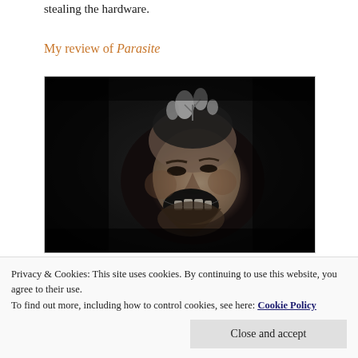stealing the hardware.
My review of Parasite
[Figure (photo): Black and white photograph of a bearded man with mouth wide open, laughing or screaming, with white flowers or plants visible above his head. Dark dramatic lighting.]
Privacy & Cookies: This site uses cookies. By continuing to use this website, you agree to their use.
To find out more, including how to control cookies, see here: Cookie Policy
Close and accept